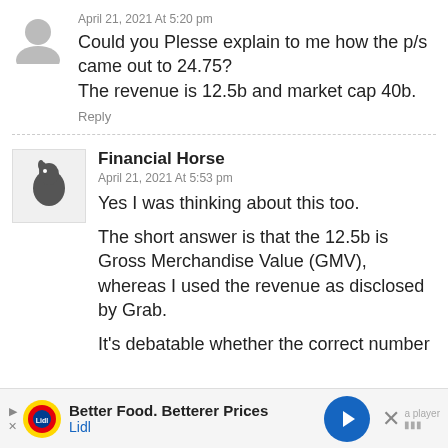April 21, 2021 At 5:20 pm
Could you Plesse explain to me how the p/s came out to 24.75?
The revenue is 12.5b and market cap 40b.
Reply
Financial Horse
April 21, 2021 At 5:53 pm
Yes I was thinking about this too.
The short answer is that the 12.5b is Gross Merchandise Value (GMV), whereas I used the revenue as disclosed by Grab.
It's debatable whether the correct number
Better Food. Betterer Prices
Lidl